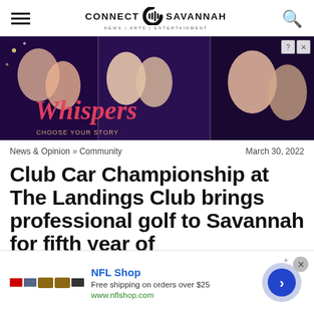CONNECT SAVANNAH — News | Arts | Entertainment
[Figure (screenshot): Advertisement banner for 'Whispers' game/app showing romantic illustrated characters on a dark background with stylized 'Whispers' logo text]
News & Opinion » Community	March 30, 2022
Club Car Championship at The Landings Club brings professional golf to Savannah for fifth year of
[Figure (screenshot): NFL Shop advertisement overlay at bottom of page: NFL Shop logo, 'Free shipping on orders over $25', 'www.nflshop.com', with a blue circular arrow button and close X button]